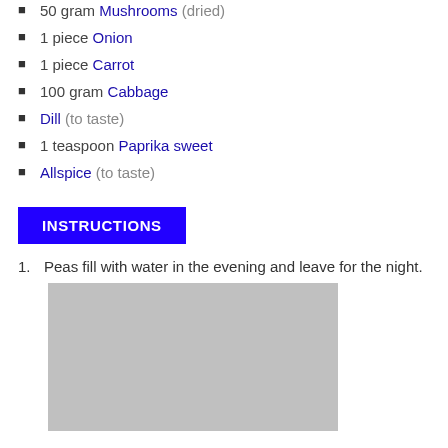50 gram Mushrooms (dried)
1 piece Onion
1 piece Carrot
100 gram Cabbage
Dill (to taste)
1 teaspoon Paprika sweet
Allspice (to taste)
INSTRUCTIONS
1. Peas fill with water in the evening and leave for the night.
[Figure (photo): Gray placeholder image for recipe step illustration]